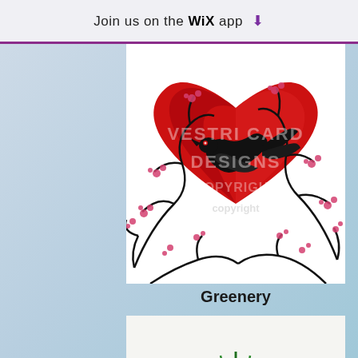Join us on the WiX app ⬇
[Figure (illustration): Digital artwork illustration of a large red heart with cherry blossom tree branches and a black bird/crow, with watermark text 'VESTRI CARD DESIGNS COPYRIGHT']
Greenery
[Figure (photo): Photo of a green plant with spiky radiating leaves, partially visible at bottom of page]